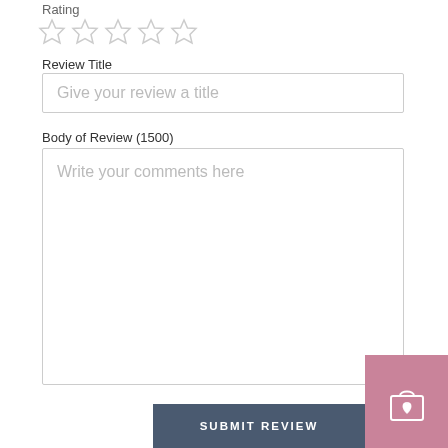Rating
[Figure (other): Five empty star rating icons in a row]
Review Title
Give your review a title
Body of Review (1500)
Write your comments here
[Figure (other): Pink/mauve shopping bag with heart icon button]
SUBMIT REVIEW